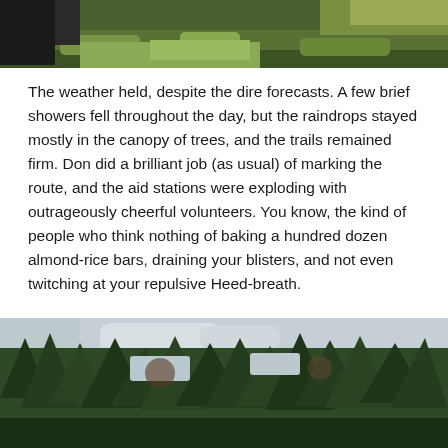[Figure (photo): Partial photo at top of page showing green grass and foliage, cropped at the top edge]
The weather held, despite the dire forecasts. A few brief showers fell throughout the day, but the raindrops stayed mostly in the canopy of trees, and the trails remained firm. Don did a brilliant job (as usual) of marking the route, and the aid stations were exploding with outrageously cheerful volunteers. You know, the kind of people who think nothing of baking a hundred dozen almond-rice bars, draining your blisters, and not even twitching at your repulsive Heed-breath.
[Figure (photo): Photo of a forest scene with tall trees and a cloudy sky visible through the canopy, taken from ground level looking upward]